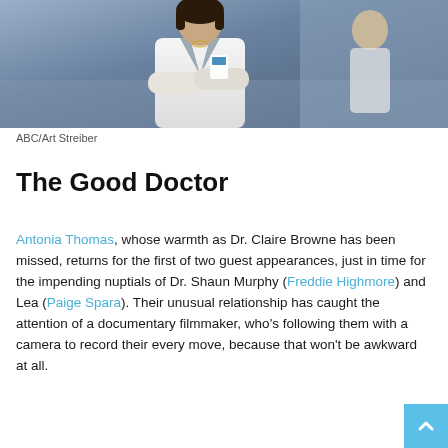[Figure (photo): A woman in a white doctor's coat with arms crossed, standing in a hospital-like setting. Another figure is visible in the background reflected in glass.]
ABC/Art Streiber
The Good Doctor
Antonia Thomas, whose warmth as Dr. Claire Browne has been missed, returns for the first of two guest appearances, just in time for the impending nuptials of Dr. Shaun Murphy (Freddie Highmore) and Lea (Paige Spara). Their unusual relationship has caught the attention of a documentary filmmaker, who's following them with a camera to record their every move, because that won't be awkward at all.